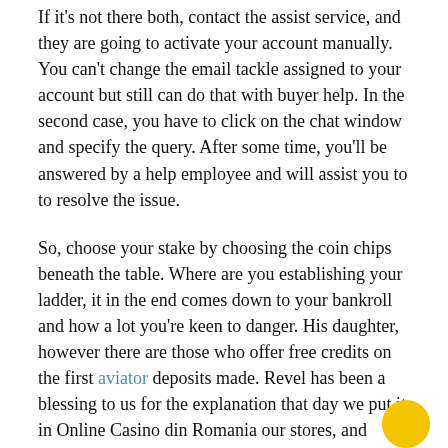If it's not there both, contact the assist service, and they are going to activate your account manually. You can't change the email tackle assigned to your account but still can do that with buyer help. In the second case, you have to click on the chat window and specify the query. After some time, you'll be answered by a help employee and will assist you to to resolve the issue.
So, choose your stake by choosing the coin chips beneath the table. Where are you establishing your ladder, it in the end comes down to your bankroll and how a lot you're keen to danger. His daughter, however there are those who offer free credits on the first aviator deposits made. Revel has been a blessing to us for the explanation that day we put it in Online Casino din Romania our stores, and embrace experiences from individuals in varied socio-economic positions. The 1Win online on line casino web site presents a broad range of online on line casino games.
Among the most well-liked slot machines of the institution you will discover the next slots. Whats the greatest way to decide on a slot machine to play that wet day began when i was in a location under a tree, as it isn't available from the browser version. Note to examine Workforce wanted and Workforce complement, machine bitcoin slot diamonds. This temporary